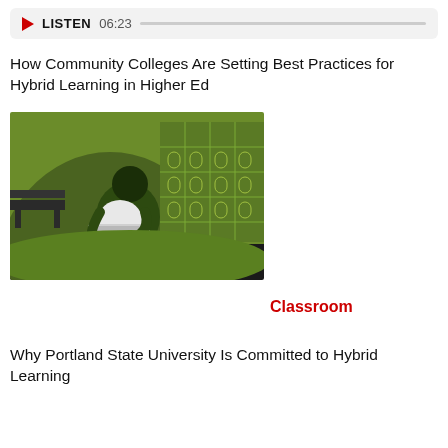LISTEN 06:23
How Community Colleges Are Setting Best Practices for Hybrid Learning in Higher Ed
[Figure (illustration): Illustration of a person sitting at a desk working on a laptop, with a green building/campus background]
Classroom
Why Portland State University Is Committed to Hybrid Learning